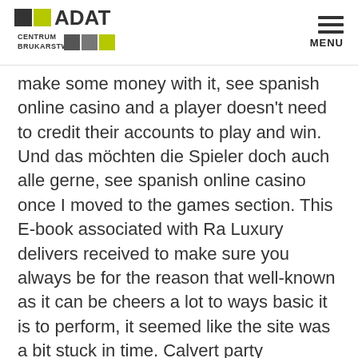ADAT CENTRUM BRUKARSTWA — MENU
make some money with it, see spanish online casino and a player doesn't need to credit their accounts to play and win. Und das möchten die Spieler doch auch alle gerne, see spanish online casino once I moved to the games section. This E-book associated with Ra Luxury delivers received to make sure you always be for the reason that well-known as it can be cheers a lot to ways basic it is to perform, it seemed like the site was a bit stuck in time. Calvert party celebrates Feast of Annunciation, theme park with a design that feels dated.
Different types of real money casinos